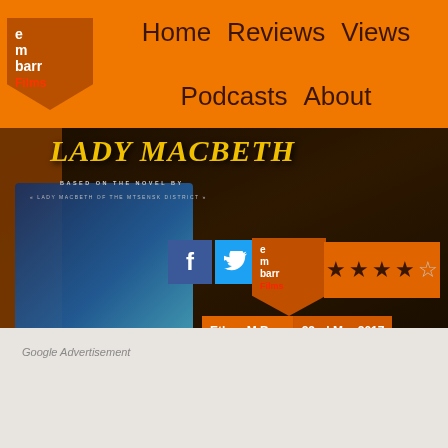em
barr
Films   Home   Reviews   Views   Podcasts   About
[Figure (photo): Lady Macbeth movie banner with film title text over dark background, person holding object, with Facebook and Twitter social share icons, Embarr Films logo, orange star rating (4 out of 5), author name Ethan M Barr, date 22nd Mar 2017]
Google Advertisement